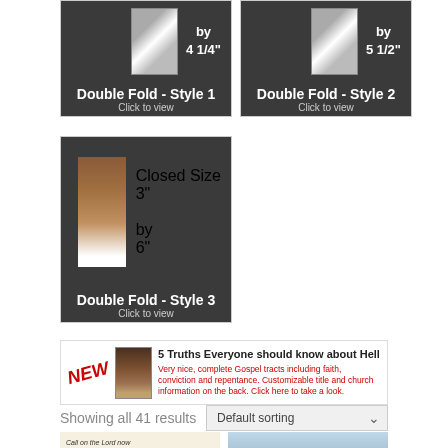[Figure (screenshot): Double Fold Style 1 product card with book image showing lighthouse, closed size by 4 1/4 inches]
[Figure (screenshot): Double Fold Style 2 product card with book image showing beach, closed size by 5 1/2 inches]
[Figure (screenshot): Double Fold Style 3 product card with book image showing Heaven Hills, closed size 3 inches by 6 inches]
[Figure (screenshot): NEW banner for 5 Truths Everyone should know about Hell tract]
Showing all 41 results
Default sorting
[Figure (screenshot): Two product preview images at bottom: Call on the Lord now tract and If you died tonight tract]